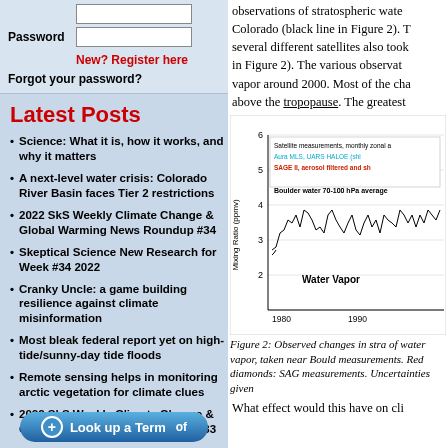Password
New? Register here
Forgot your password?
Latest Posts
Science: What it is, how it works, and why it matters
A next-level water crisis: Colorado River Basin faces Tier 2 restrictions
2022 SkS Weekly Climate Change & Global Warming News Roundup #34
Skeptical Science New Research for Week #34 2022
Cranky Uncle: a game building resilience against climate misinformation
Most bleak federal report yet on high-tide/sunny-day tide floods
Remote sensing helps in monitoring arctic vegetation for climate clues
2022 SkS Weekly Climate Change & Global Warming News Roundup #33
of
observations of stratospheric water Colorado (black line in Figure 2). T several different satellites also took in Figure 2). The various observat vapor around 2000. Most of the cha above the tropopause. The greatest
[Figure (line-chart): Line chart showing observed changes in stratospheric water vapor mixing ratio near Boulder, Colorado, from 1980 to ~1990s. Y-axis ranges from 2 to 6 ppmv. Black line shows Boulder water 70-100 hPa average. Legend mentions Satellite measurements monthly zonal a, Aura MLS UARS HALOE (shown in cyan), SAGE II aerosol filtered (shown in red).]
Figure 2: Observed changes in stra of water vapor, taken near Bould measurements. Red diamonds: SAG measurements. Uncertainties given
What effect would this have on cli